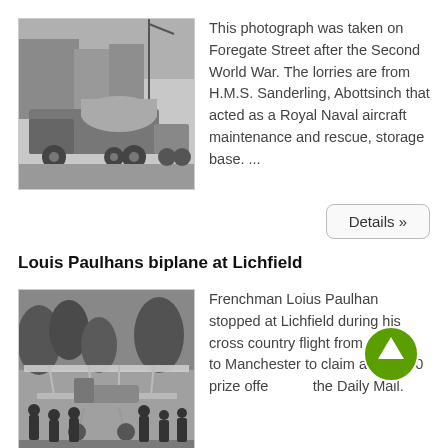[Figure (photo): Black and white photograph of lorries carrying aircraft parts on Foregate Street after the Second World War.]
This photograph was taken on Foregate Street after the Second World War. The lorries are from H.M.S. Sanderling, Abottsinch that acted as a Royal Naval aircraft maintenance and rescue, storage base. ...
Details »
Louis Paulhans biplane at Lichfield
[Figure (photo): Black and white photograph of Frenchman Louis Paulhan's biplane at Lichfield with a group of people standing around it.]
Frenchman Loius Paulhan stopped at Lichfield during his cross country flight from London to Manchester to claim a £10,000 prize offered by the Daily Mail.
Detail...